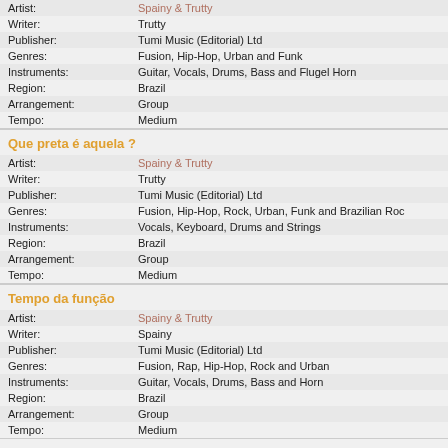| Artist: | Spainy & Trutty |
| Writer: | Trutty |
| Publisher: | Tumi Music (Editorial) Ltd |
| Genres: | Fusion, Hip-Hop, Urban and Funk |
| Instruments: | Guitar, Vocals, Drums, Bass and Flugel Horn |
| Region: | Brazil |
| Arrangement: | Group |
| Tempo: | Medium |
Que preta é aquela ?
| Artist: | Spainy & Trutty |
| Writer: | Trutty |
| Publisher: | Tumi Music (Editorial) Ltd |
| Genres: | Fusion, Hip-Hop, Rock, Urban, Funk and Brazilian Roc |
| Instruments: | Vocals, Keyboard, Drums and Strings |
| Region: | Brazil |
| Arrangement: | Group |
| Tempo: | Medium |
Tempo da função
| Artist: | Spainy & Trutty |
| Writer: | Spainy |
| Publisher: | Tumi Music (Editorial) Ltd |
| Genres: | Fusion, Rap, Hip-Hop, Rock and Urban |
| Instruments: | Guitar, Vocals, Drums, Bass and Horn |
| Region: | Brazil |
| Arrangement: | Group |
| Tempo: | Medium |